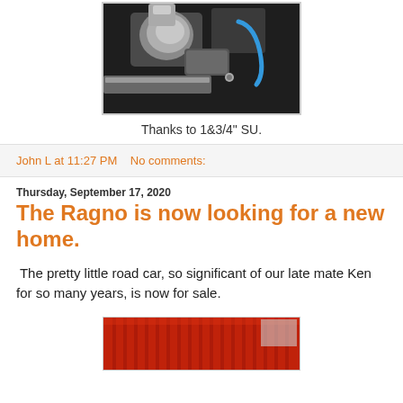[Figure (photo): Close-up photo of a car engine bay showing metallic components, turbo or intake piping, and a blue hose against a dark background.]
Thanks to 1&3/4" SU.
John L at 11:27 PM    No comments:
Thursday, September 17, 2020
The Ragno is now looking for a new home.
The pretty little road car, so significant of our late mate Ken for so many years, is now for sale.
[Figure (photo): Partial photo showing what appears to be a red air filter or intake component in a car engine bay.]